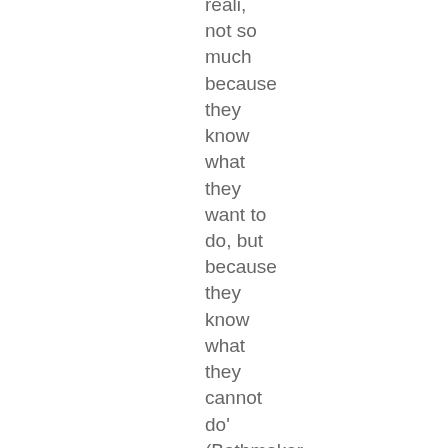reali, not so much because they know what they want to do, but because they know what they cannot do' (Bathmaker, 2005). These learners are